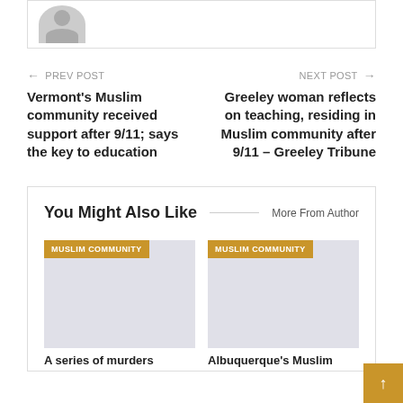[Figure (photo): Partial view of a user avatar card with a gray placeholder person icon showing head and shoulders]
← PREV POST
Vermont's Muslim community received support after 9/11; says the key to education
NEXT POST →
Greeley woman reflects on teaching, residing in Muslim community after 9/11 – Greeley Tribune
You Might Also Like
More From Author
[Figure (screenshot): Article card with gold 'MUSLIM COMMUNITY' badge over a gray image placeholder]
A series of murders
[Figure (screenshot): Article card with gold 'MUSLIM COMMUNITY' badge over a gray image placeholder]
Albuquerque's Muslim